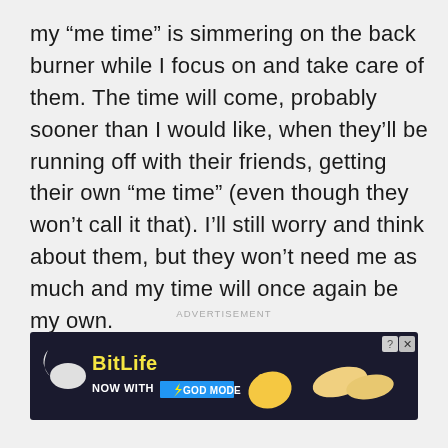my “me time” is simmering on the back burner while I focus on and take care of them. The time will come, probably sooner than I would like, when they’ll be running off with their friends, getting their own “me time” (even though they won’t call it that). I’ll still worry and think about them, but they won’t need me as much and my time will once again be my own.
ADVERTISEMENT
[Figure (other): BitLife mobile game advertisement banner: dark background with sperm logo, yellow 'BitLife' text, white 'NOW WITH' text, blue 'GOD MODE' badge with lightning bolt, cartoon thumbs-up hand, and cartoon pointing hands. Question mark and X close buttons in top right corner.]